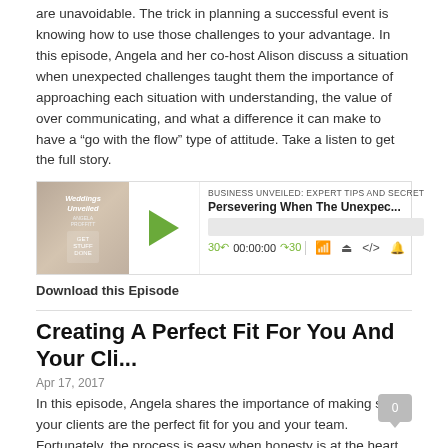are unavoidable. The trick in planning a successful event is knowing how to use those challenges to your advantage. In this episode, Angela and her co-host Alison discuss a situation when unexpected challenges taught them the importance of approaching each situation with understanding, the value of over communicating, and what a difference it can make to have a “go with the flow” type of attitude. Take a listen to get the full story.
[Figure (screenshot): Podcast player widget for 'Business Unveiled: Expert Tips and Secrets' episode titled 'Persevering When The Unexpec...' with play button, progress bar, timestamp 00:00:00, and controls]
Download this Episode
Creating A Perfect Fit For You And Your Cli...
Apr 17, 2017
In this episode, Angela shares the importance of making sure your clients are the perfect fit for you and your team. Fortunately, the process is easy when honesty is at the heart of your planning and the right boundaries are in place.  Listen as Angela and her co-host Alison discuss a few occasions when saying no was the right choice.